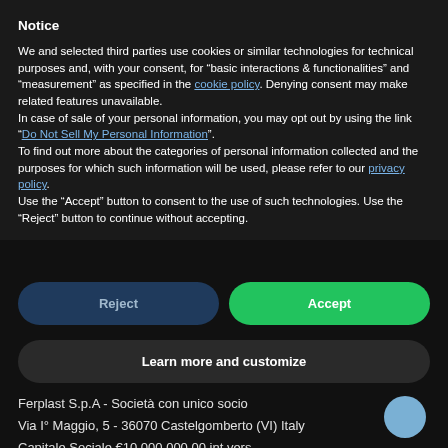Notice
We and selected third parties use cookies or similar technologies for technical purposes and, with your consent, for “basic interactions & functionalities” and “measurement” as specified in the cookie policy. Denying consent may make related features unavailable.
In case of sale of your personal information, you may opt out by using the link “Do Not Sell My Personal Information”.
To find out more about the categories of personal information collected and the purposes for which such information will be used, please refer to our privacy policy.
Use the “Accept” button to consent to the use of such technologies. Use the “Reject” button to continue without accepting.
Reject
Accept
Learn more and customize
Ferplast S.p.A - Società con unico socio
Via I° Maggio, 5 - 36070 Castelgomberto (VI) Italy
Capitale Sociale €10.000.000,00 int.vers.